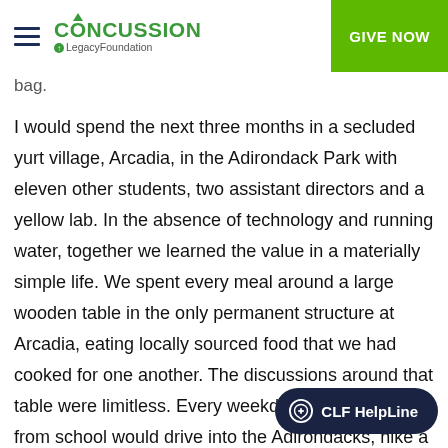CONCUSSION LegacyFoundation | GIVE NOW
bag.
I would spend the next three months in a secluded yurt village, Arcadia, in the Adirondack Park with eleven other students, two assistant directors and a yellow lab. In the absence of technology and running water, together we learned the value in a materially simple life. We spent every meal around a large wooden table in the only permanent structure at Arcadia, eating locally sourced food that we had cooked for one another. The discussions around that table were limitless. Every weekday, a professor from school would drive into the Adirondacks, hike a mile into the woods, and paddle across Lake Ma... spend the day outside with us. In the absence of